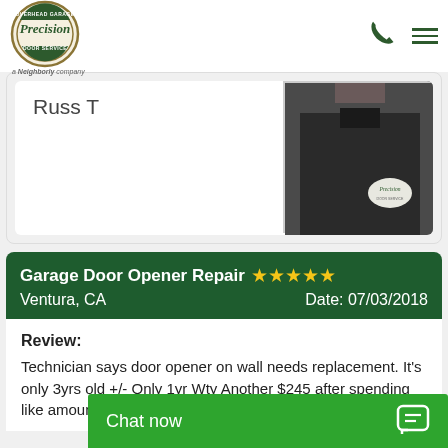[Figure (logo): Precision Overhead Garage Door Service logo - circular emblem with 'a Neighborly company' tagline below]
[Figure (photo): Technician named Russ T in dark uniform with Precision badge, partial view]
Russ T
Garage Door Opener Repair ★★★★★
Ventura, CA   Date: 07/03/2018
Review:
Technician says door opener on wall needs replacement. It's only 3yrs old +/- Only 1yr Wty Another $245 after spending like amount on new spring las[t year would] look for another c[ompany]